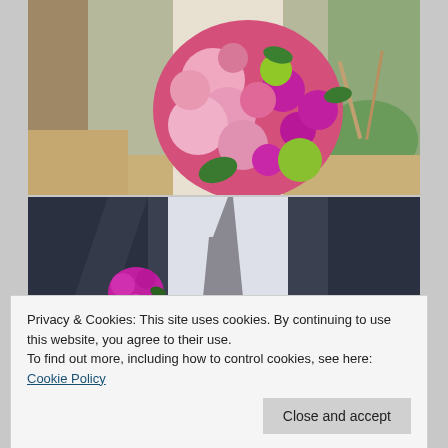[Figure (photo): Person in white dress holding a large colorful bridal bouquet with pink peonies, magenta flowers, green button mums, and pink roses, photographed outdoors near a tree]
[Figure (photo): Close-up of a groom in a dark suit with a white shirt and gray tie, wearing a magenta and pink boutonniere on his lapel]
Privacy & Cookies: This site uses cookies. By continuing to use this website, you agree to their use.
To find out more, including how to control cookies, see here: Cookie Policy
Close and accept
[Figure (photo): Partial view of another wedding photo at the bottom of the page]